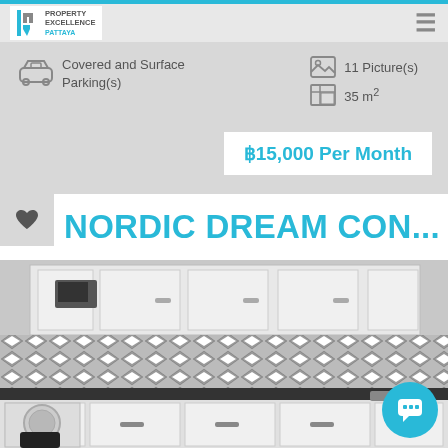[Figure (logo): Property Excellence Pattaya logo with blue bar on left and text]
Covered and Surface Parking(s)
11 Picture(s)
35 m²
฿15,000 Per Month
NORDIC DREAM CON...
[Figure (photo): Kitchen interior with white cabinets, black and white diamond tile backsplash, black countertop, microwave, and washing machine]